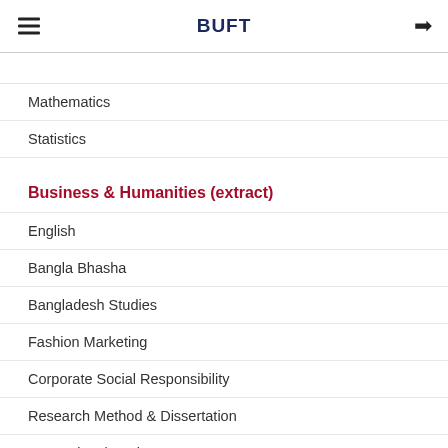BUFT
Mathematics
Statistics
Business & Humanities (extract)
English
Bangla Bhasha
Bangladesh Studies
Fashion Marketing
Corporate Social Responsibility
Research Method & Dissertation
International Business